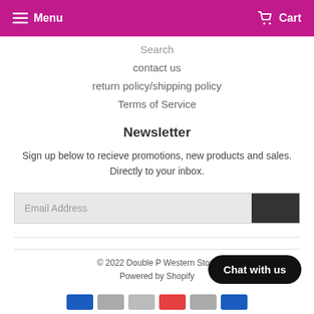Menu  Cart
Search
contact us
return policy/shipping policy
Terms of Service
Newsletter
Sign up below to recieve promotions, new products and sales. Directly to your inbox.
Email Address
© 2022 Double P Western Store
Powered by Shopify
Chat with us